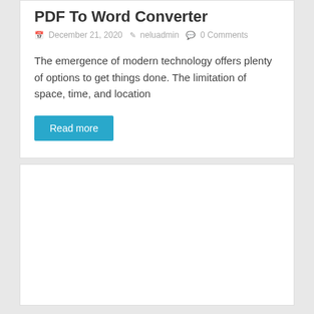PDF To Word Converter
December 21, 2020  neluadmin  0 Comments
The emergence of modern technology offers plenty of options to get things done. The limitation of space, time, and location
Read more